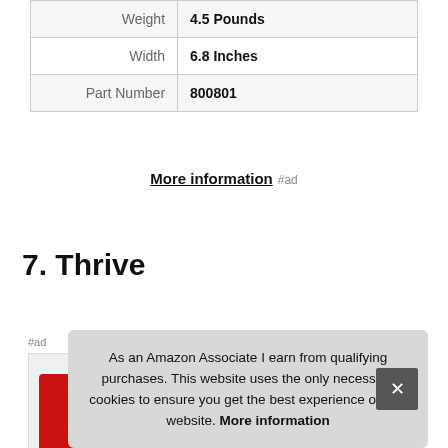| Weight | 4.5 Pounds |
| Width | 6.8 Inches |
| Part Number | 800801 |
More information #ad
7. Thrive
#ad
[Figure (photo): Partial product image visible at bottom of page, red item]
As an Amazon Associate I earn from qualifying purchases. This website uses the only necessary cookies to ensure you get the best experience on our website. More information